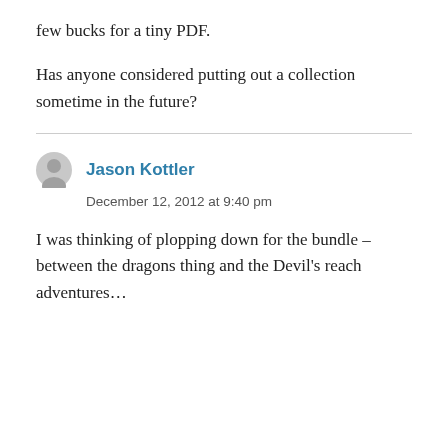few bucks for a tiny PDF.
Has anyone considered putting out a collection sometime in the future?
Jason Kottler
December 12, 2012 at 9:40 pm
I was thinking of plopping down for the bundle – between the dragons thing and the Devil's reach adventures…